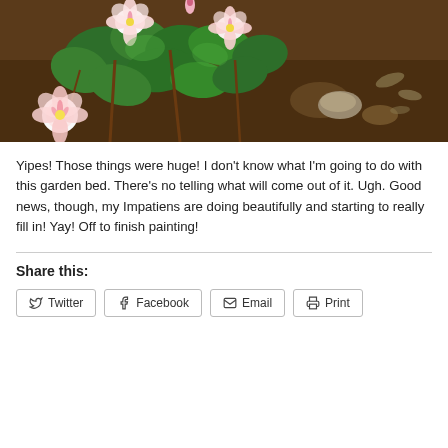[Figure (photo): Close-up photo of pink and white Impatiens flowers with green leaves growing in a garden bed with brown soil and mulch]
Yipes! Those things were huge! I don't know what I'm going to do with this garden bed. There's no telling what will come out of it. Ugh. Good news, though, my Impatiens are doing beautifully and starting to really fill in! Yay! Off to finish painting!
Share this:
Twitter
Facebook
Email
Print